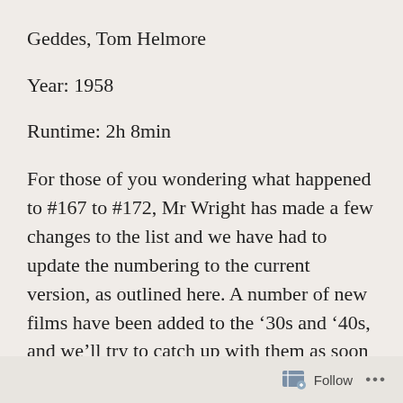Geddes, Tom Helmore
Year: 1958
Runtime: 2h 8min
For those of you wondering what happened to #167 to #172, Mr Wright has made a few changes to the list and we have had to update the numbering to the current version, as outlined here. A number of new films have been added to the ’30s and ’40s, and we’ll try to catch up with them as soon as we can get our hands on copies. Until then, we continue
Follow ...